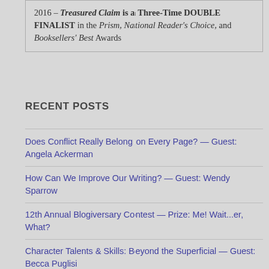2016 – Treasured Claim is a Three-Time DOUBLE FINALIST in the Prism, National Reader's Choice, and Booksellers' Best Awards
RECENT POSTS
Does Conflict Really Belong on Every Page? — Guest: Angela Ackerman
How Can We Improve Our Writing? — Guest: Wendy Sparrow
12th Annual Blogiversary Contest — Prize: Me! Wait...er, What?
Character Talents & Skills: Beyond the Superficial — Guest: Becca Puglisi
What Gives Our Story Meaning?
How Can We Recognize a Scene vs. a Sequel?